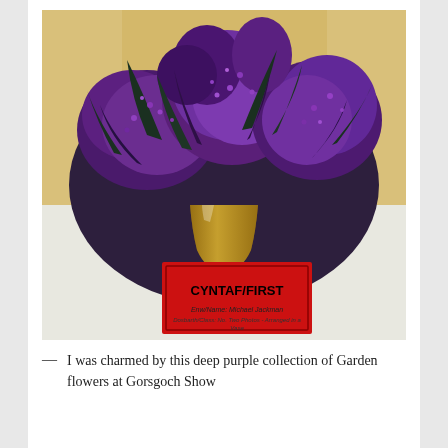[Figure (photo): A vase of deep purple garden flowers (buddleia/heather mix) displayed on a white table at Gorsgoch Show. A red card in front reads 'CYNTAF/FIRST' with handwritten text below showing a name and description.]
— I was charmed by this deep purple collection of Garden flowers at Gorsgoch Show